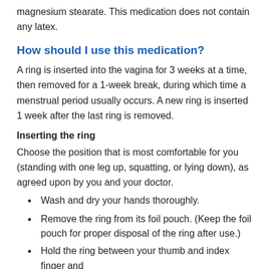magnesium stearate. This medication does not contain any latex.
How should I use this medication?
A ring is inserted into the vagina for 3 weeks at a time, then removed for a 1-week break, during which time a menstrual period usually occurs. A new ring is inserted 1 week after the last ring is removed.
Inserting the ring
Choose the position that is most comfortable for you (standing with one leg up, squatting, or lying down), as agreed upon by you and your doctor.
Wash and dry your hands thoroughly.
Remove the ring from its foil pouch. (Keep the foil pouch for proper disposal of the ring after use.)
Hold the ring between your thumb and index finger and